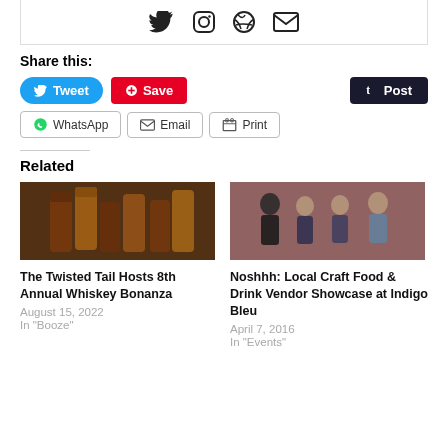[Figure (infographic): Social media icons row: Twitter bird, Instagram camera, Dribbble ball, Email envelope]
Share this:
Tweet | Save | Post | WhatsApp | Email | Print
Related
[Figure (photo): Photo of whiskey bottles on a table]
The Twisted Tail Hosts 8th Annual Whiskey Bonanza
August 15, 2022
In "Booze"
[Figure (photo): Photo of four people posing together at an event, brick wall background]
Noshhh: Local Craft Food & Drink Vendor Showcase at Indigo Bleu
April 7, 2016
In "Events"